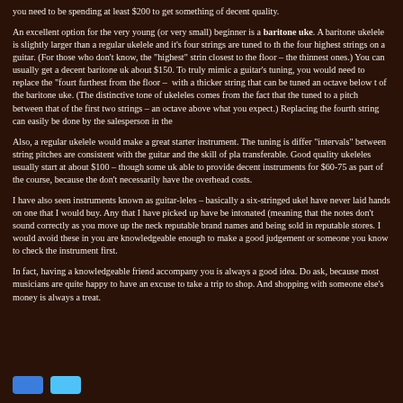you need to be spending at least $200 to get something of decent quality.
An excellent option for the very young (or very small) beginner is a baritone uke. A baritone ukelele is slightly larger than a regular ukelele and it's four strings are tuned to the same pitch as the four highest strings on a guitar. (For those who don't know, the "highest" strings are closest to the floor – the thinnest ones.) You can usually get a decent baritone uke for about $150. To truly mimic a guitar's tuning, you would need to replace the "fourth" string – furthest from the floor – with a thicker string that can be tuned an octave below the others. This is part of the baritone uke. (The distinctive tone of ukeleles comes from the fact that the fourth string is tuned to a pitch between that of the first two strings – an octave above what you might expect.) Replacing the fourth string can easily be done by the salesperson in the store.
Also, a regular ukelele would make a great starter instrument. The tuning is different, but the "intervals" between string pitches are consistent with the guitar and the skill of playing is transferable. Good quality ukeleles usually start at about $100 – though some ukelele teachers are able to provide decent instruments for $60-75 as part of the course, because they buy in bulk and don't necessarily have the overhead costs.
I have also seen instruments known as guitar-leles – basically a six-stringed ukelele – but I have never laid hands on one that I would buy. Any that I have picked up have been badly intonated (meaning that the notes don't sound correctly as you move up the neck), despite having reputable brand names and being sold in reputable stores. I would avoid these instruments unless you are knowledgeable enough to make a good judgement or someone you know can check the instrument first.
In fact, having a knowledgeable friend accompany you is always a good idea. Don't be afraid to ask, because most musicians are quite happy to have an excuse to take a trip to the music shop. And shopping with someone else's money is always a treat.